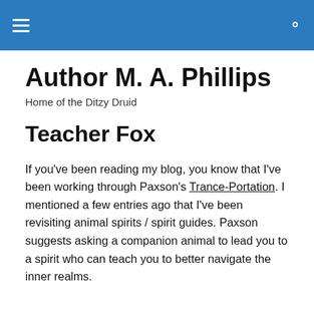≡  🔍
Author M. A. Phillips
Home of the Ditzy Druid
Teacher Fox
If you've been reading my blog, you know that I've been working through Paxson's Trance-Portation. I mentioned a few entries ago that I've been revisiting animal spirits / spirit guides. Paxson suggests asking a companion animal to lead you to a spirit who can teach you to better navigate the inner realms.